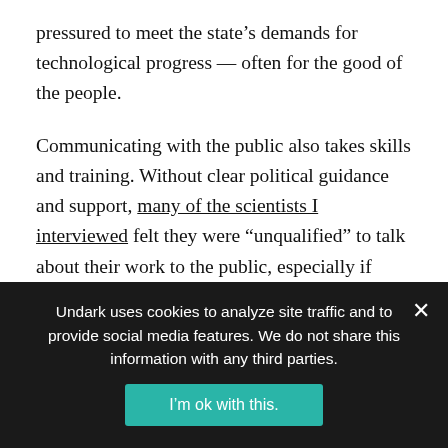pressured to meet the state's demands for technological progress — often for the good of the people.
Communicating with the public also takes skills and training. Without clear political guidance and support, many of the scientists I interviewed felt they were "unqualified" to talk about their work to the public, especially if potentially contentious.
There is also little incentive to engage with the media or the public in China. For that reason, it may be understandable that scientists are reluctant to take the risk
Undark uses cookies to analyze site traffic and to provide social media features. We do not share this information with any third parties.